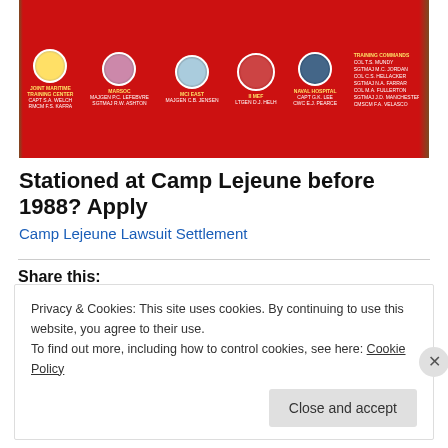[Figure (photo): Red military insignia banner with circular unit badges and white text labels for Joint Maritime Training Center, MARSOC, MCI East, 2 MEF, Naval Hospital, and Training Commands]
Stationed at Camp Lejeune before 1988? Apply
Camp Lejeune Lawsuit Settlement
Share this:
[Figure (infographic): Social share buttons: Twitter (blue), Facebook (blue), Pinterest (red), Email (gray), Print (gray)]
Privacy & Cookies: This site uses cookies. By continuing to use this website, you agree to their use.
To find out more, including how to control cookies, see here: Cookie Policy
Close and accept